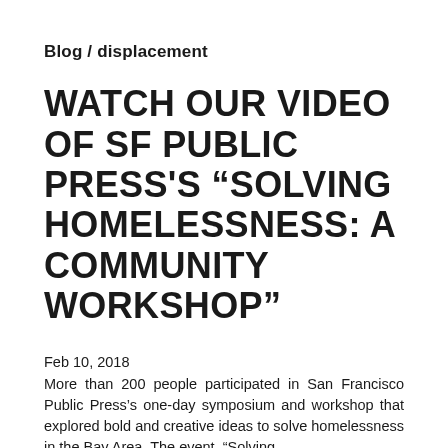Blog / displacement
WATCH OUR VIDEO OF SF PUBLIC PRESS'S “SOLVING HOMELESSNESS: A COMMUNITY WORKSHOP”
Feb 10, 2018
More than 200 people participated in San Francisco Public Press’s one-day symposium and workshop that explored bold and creative ideas to solve homelessness in the Bay Area. The event, “Solving